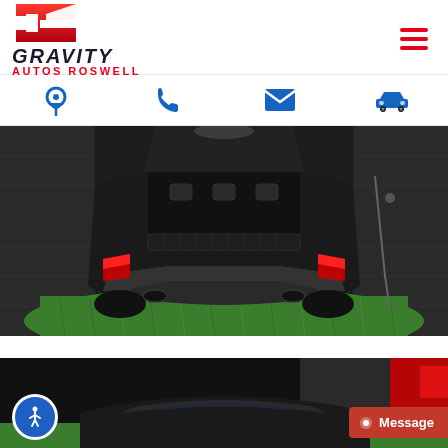[Figure (logo): Gravity Autos Roswell logo with red angular G icon and bold italic text]
[Figure (infographic): Navigation icon bar with location pin, phone, email, and car icons in blue]
[Figure (photo): Rear view of a dark colored SUV (Land Rover) with trunk open, sitting on green turf in an indoor showroom with dark brick walls]
[Figure (photo): Partial rear/top view of a dark SUV in a showroom, with accessibility button and Gravity Autos partial logo visible]